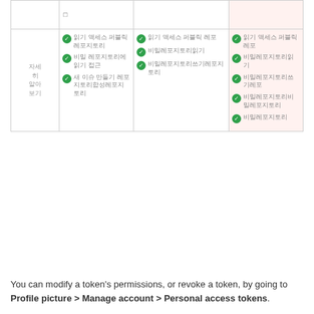|  |  |  |  |
| --- | --- | --- | --- |
|  | □ |  |  |
| 자세히 알아보기 | ✓ 읽기 액세스 퍼블릭 레포지토리
✓ 비밀 레포지토리에 읽기 접근
✓ 새 이슈 만들기 레포지토리합성 | ✓ 읽기 액세스 퍼블릭 레포
✓ 비밀레포지토리읽기
✓ 비밀레포지토리쓰기 | ✓ 읽기 액세스 퍼블릭 레포
✓ 비밀레포지토리읽기
✓ 비밀레포지토리쓰기
✓ 비밀레포지토리비밀레포지토리
✓ 비밀레포지토리 |
You can modify a token's permissions, or revoke a token, by going to Profile picture > Manage account > Personal access tokens.